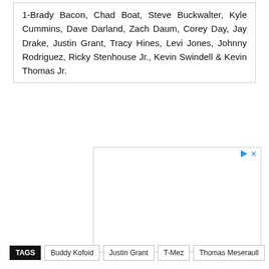1-Brady Bacon, Chad Boat, Steve Buckwalter, Kyle Cummins, Dave Darland, Zach Daum, Corey Day, Jay Drake, Justin Grant, Tracy Hines, Levi Jones, Johnny Rodriguez, Ricky Stenhouse Jr., Kevin Swindell & Kevin Thomas Jr.
[Figure (other): Advertisement placeholder box with play and close icons in top-right corner]
TAGS: Buddy Kofoid, Justin Grant, T-Mez, Thomas Meseraull